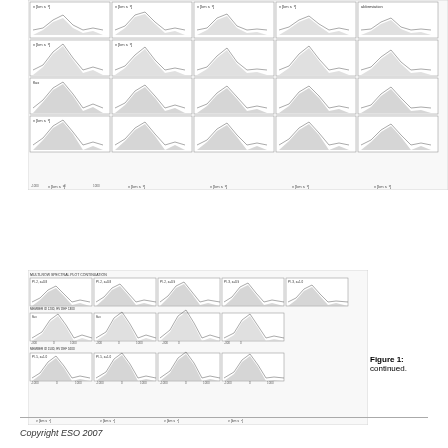[Figure (continuous-plot): Grid of spectral plots (velocity profiles) arranged in a multi-panel figure showing absorption/emission line profiles. Multiple rows and columns of spectral data panels, each with y-axis labels and x-axis showing velocity in km/s ranging from approximately -1000 to 1000.]
[Figure (continuous-plot): Continuation of spectral plot grid (Figure 1 continued). Three rows of multi-panel spectral plots showing velocity profiles with shaded regions, axis labels showing v [km/s] from approximately -300 to 1000.]
Figure 1: continued.
Copyright ESO 2007